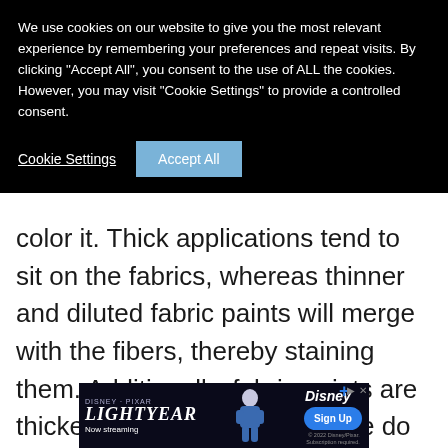We use cookies on our website to give you the most relevant experience by remembering your preferences and repeat visits. By clicking "Accept All", you consent to the use of ALL the cookies. However, you may visit "Cookie Settings" to provide a controlled consent.
Cookie Settings | Accept All
color it. Thick applications tend to sit on the fabrics, whereas thinner and diluted fabric paints will merge with the fibers, thereby staining them. Additionally, fabric paints are thicker than dyes and therefore do not migrate or bleed on the fabric the same way that a dye does.
[Figure (other): Disney Pixar Lightyear advertisement banner. Text reads 'Disney PIXAR', 'LIGHTYEAR', 'Now streaming', with Disney+ logo and 'Sign Up' button. Features Buzz Lightyear character. Copyright 2022 Disney/Pixar, Subscription required.]